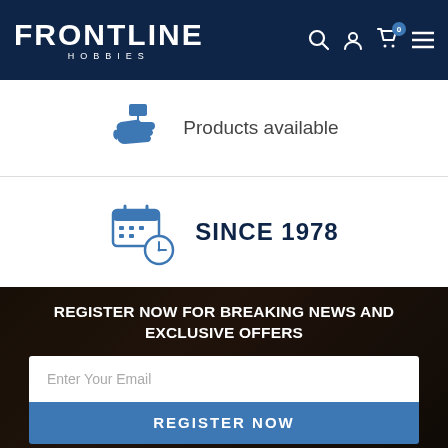FRONTLINE HOBBIES — navigation header with search, account, cart (0), and menu icons
Products available
SINCE 1978
REGISTER NOW FOR BREAKING NEWS AND EXCLUSIVE OFFERS
Enter Your Email
REGISTER NOW